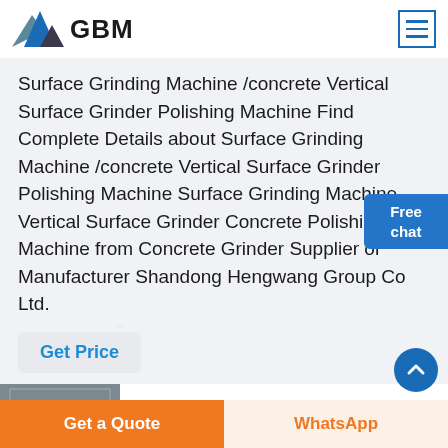[Figure (logo): GBM logo with blue/grey mountain peaks and bold GBM text]
Surface Grinding Machine /concrete Vertical Surface Grinder Polishing Machine Find Complete Details about Surface Grinding Machine /concrete Vertical Surface Grinder Polishing Machine Surface Grinding Machine Vertical Surface Grinder Concrete Polishing Machine from Concrete Grinder Supplier or Manufacturer Shandong Hengwang Group Co Ltd.
Get Price
Best Bench